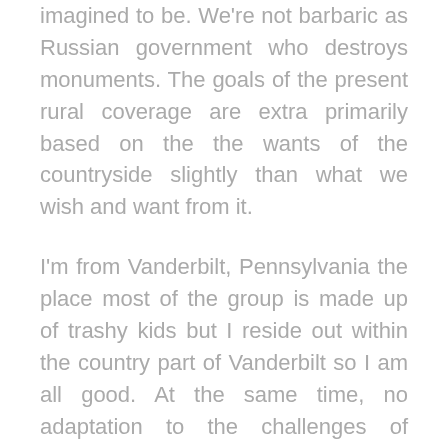imagined to be. We're not barbaric as Russian government who destroys monuments. The goals of the present rural coverage are extra primarily based on the the wants of the countryside slightly than what we wish and want from it.
I'm from Vanderbilt, Pennsylvania the place most of the group is made up of trashy kids but I reside out within the country part of Vanderbilt so I am all good. At the same time, no adaptation to the challenges of adjusting climate can be efficient and sustainable with out the resources provided by the countryside.
While...